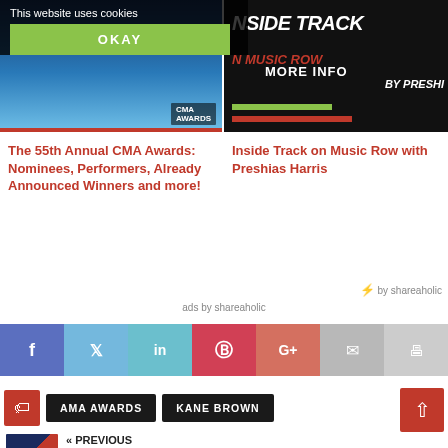This website uses cookies
OKAY
MORE INFO
[Figure (photo): CMA Awards stage with blue lighting and crowd]
[Figure (photo): Inside Track on Music Row by Preshias Harris - dark background with red and green bars]
The 55th Annual CMA Awards: Nominees, Performers, Already Announced Winners and more!
Inside Track on Music Row with Preshias Harris
⚡ by shareaholic
ads by shareaholic
f  t  in  p  G+  ✉  🖶
AMA AWARDS
KANE BROWN
« PREVIOUS
Country Music's Biggest Female Hit Songwriters